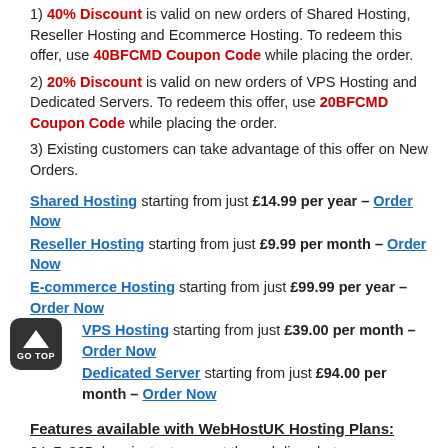1) 40% Discount is valid on new orders of Shared Hosting, Reseller Hosting and Ecommerce Hosting. To redeem this offer, use 40BFCMD Coupon Code while placing the order.
2) 20% Discount is valid on new orders of VPS Hosting and Dedicated Servers. To redeem this offer, use 20BFCMD Coupon Code while placing the order.
3) Existing customers can take advantage of this offer on New Orders.
Shared Hosting starting from just £14.99 per year – Order Now
Reseller Hosting starting from just £9.99 per month – Order Now
E-commerce Hosting starting from just £99.99 per year – Order Now
VPS Hosting starting from just £39.00 per month – Order Now
Dedicated Server starting from just £94.00 per month – Order Now
Features available with WebHostUK Hosting Plans:
24x7x365 days instant support through live chat